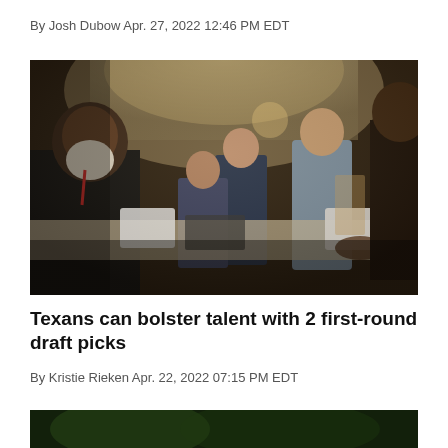By Josh Dubow Apr. 27, 2022 12:46 PM EDT
[Figure (photo): Group of people gathered around a table in an ornate hall, looking at tablets and papers. A large man with a white beard sits on the left speaking to the group.]
Texans can bolster talent with 2 first-round draft picks
By Kristie Rieken Apr. 22, 2022 07:15 PM EDT
[Figure (photo): Partial photo at bottom of page, dark outdoor scene.]